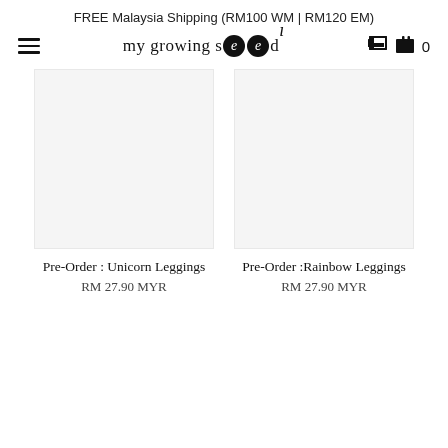FREE Malaysia Shipping (RM100 WM | RM120 EM)
[Figure (logo): my growing seed logo with two circular 'e' letters in black and a decorative curl above]
Pre-Order : Unicorn Leggings
RM 27.90 MYR
Pre-Order :Rainbow Leggings
RM 27.90 MYR